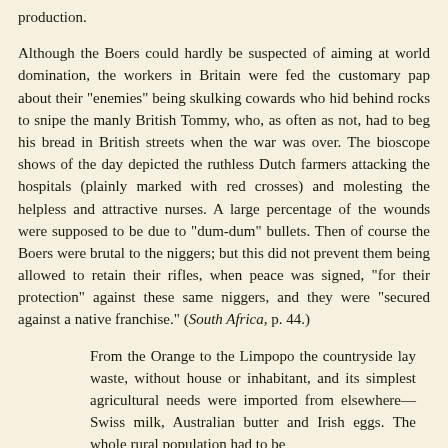production.
Although the Boers could hardly be suspected of aiming at world domination, the workers in Britain were fed the customary pap about their "enemies" being skulking cowards who hid behind rocks to snipe the manly British Tommy, who, as often as not, had to beg his bread in British streets when the war was over. The bioscope shows of the day depicted the ruthless Dutch farmers attacking the hospitals (plainly marked with red crosses) and molesting the helpless and attractive nurses. A large percentage of the wounds were supposed to be due to "dum-dum" bullets. Then of course the Boers were brutal to the niggers; but this did not prevent them being allowed to retain their rifles, when peace was signed, "for their protection" against these same niggers, and they were "secured against a native franchise." (South Africa, p. 44.)
From the Orange to the Limpopo the countryside lay waste, without house or inhabitant, and its simplest agricultural needs were imported from elsewhere— Swiss milk, Australian butter and Irish eggs. The whole rural population had to be